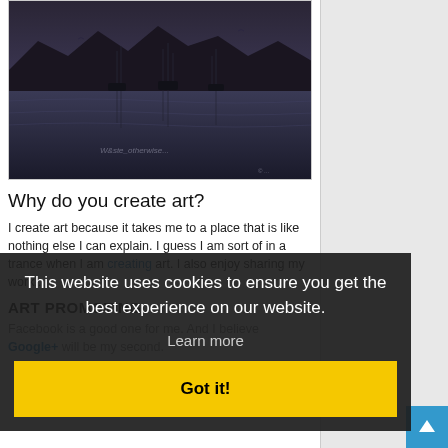[Figure (photo): Dark moody nautical scene — harbor with sailing ships and reflections on water, mountains silhouetted in background, monochrome blue-grey tones with watermark text]
Why do you create art?
I create art because it takes me to a place that is like nothing else I can explain. I guess I am sort of in a trance when I am creating art. I also enjoy sharing my work...
ART PROMOTING
Facebook is a good one for me. And I believe Google+ will be my second.
This website uses cookies to ensure you get the best experience on our website.
Learn more
Got it!